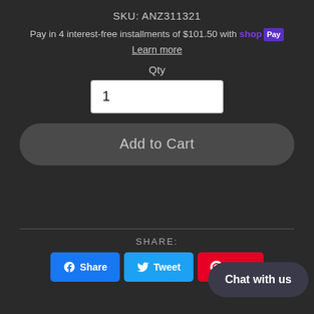SKU: ANZ311321
Pay in 4 interest-free installments of $101.50 with shop Pay
Learn more
Qty
1
Add to Cart
SHARE:
Share  Tweet  Pin it
Chat with us
Tail Light Assembly, LED, Clear Lens, Black Housing, Pair, Plank Style Design, Guaranteed To Improve Your Vehicles